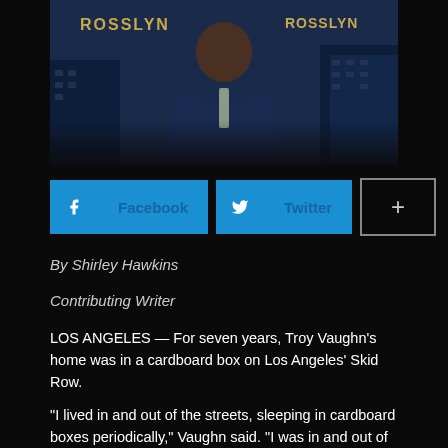[Figure (photo): Portrait of a man in a navy suit with a grey tie, standing in front of a city building with 'ROSSLYN' signage visible, dark background]
[Figure (infographic): Social sharing buttons: Facebook (blue), Twitter (blue), and a plus (+) button with dark border]
By Shirley Hawkins
Contributing Writer
LOS ANGELES — For seven years, Troy Vaughn's home was in a cardboard box on Los Angeles' Skid Row.
"I lived in and out of the streets, sleeping in cardboard boxes periodically," Vaughn said. "I was in and out of shelters, cars